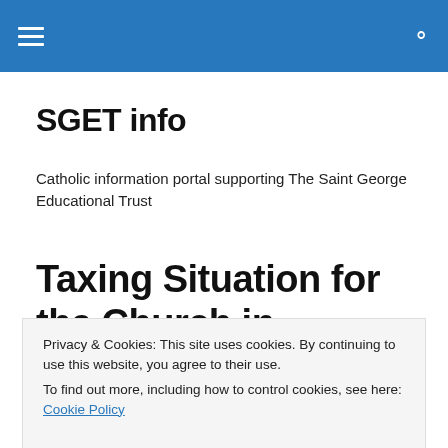≡  🔍
SGET info
Catholic information portal supporting The Saint George Educational Trust
Taxing Situation for the Church in Palestine
Privacy & Cookies: This site uses cookies. By continuing to use this website, you agree to their use.
To find out more, including how to control cookies, see here: Cookie Policy
Close and accept